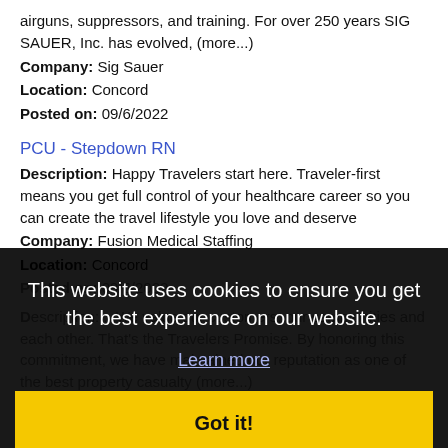airguns, suppressors, and training. For over 250 years SIG SAUER, Inc. has evolved, (more...)
Company: Sig Sauer
Location: Concord
Posted on: 09/6/2022
PCU - Stepdown RN
Description: Happy Travelers start here. Traveler-first means you get full control of your healthcare career so you can create the travel lifestyle you love and deserve
Company: Fusion Medical Staffing
Location: Concord
Posted on: 09/6/2022
Description: ...We value our customers, our communities and each other. That's the Travelers Promise. By honoring this commitment, we have maintained our reputation as one of the best property casualty (more...)
Company: Travelers
Location: Concord
Posted on: 09/6/2022
Hospice Admissions Registered Nurse (RN)
This website uses cookies to ensure you get the best experience on our website.
Learn more
Got it!